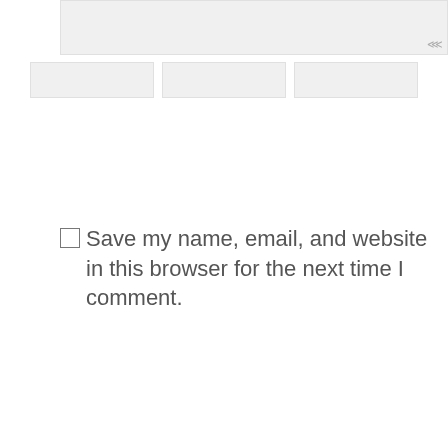[Figure (screenshot): Textarea input field with resize handle at bottom right]
[Figure (screenshot): Three horizontal input fields in a row]
☐ Save my name, email, and website in this browser for the next time I comment.
POST COMMENT
[Figure (screenshot): Search input field with magnifying glass icon at right]